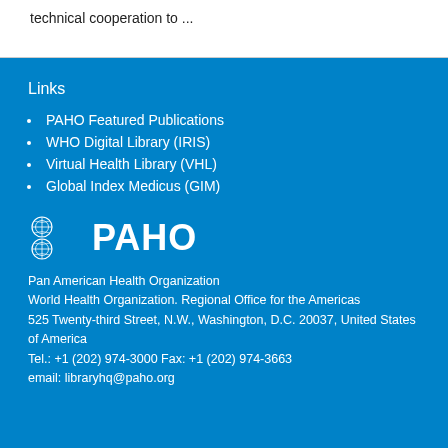technical cooperation to ...
Links
PAHO Featured Publications
WHO Digital Library (IRIS)
Virtual Health Library (VHL)
Global Index Medicus (GIM)
[Figure (logo): PAHO logo with two WHO emblems and the text PAHO in large white bold letters]
Pan American Health Organization
World Health Organization. Regional Office for the Americas
525 Twenty-third Street, N.W., Washington, D.C. 20037, United States of America
Tel.: +1 (202) 974-3000 Fax: +1 (202) 974-3663
email: libraryhq@paho.org